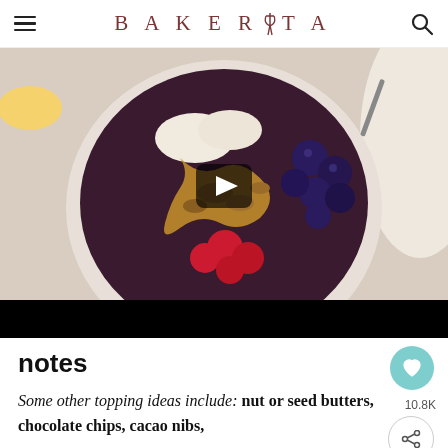BAKERITA
[Figure (photo): Overhead photo of an acai smoothie bowl topped with banana slices, blueberries, raspberries, granola, and peanut butter drizzle, with a video play button overlay in the center]
notes
Some other topping ideas include: nut or seed butters, chocolate chips, cacao nibs,